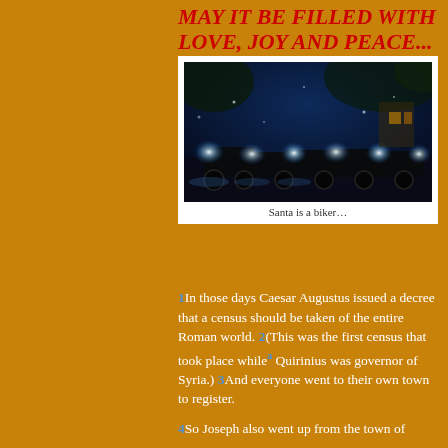MAY IT BE FILLED WITH LOVE, JOY AND PEACE...
[Figure (photo): Night photo of motorcycles lined up on a street with headlights glowing in the dark, snow or fog visible, trees in background]
Santa is a biker…
1In those days Caesar Augustus issued a decree that a census should be taken of the entire Roman world. 2(This was the first census that took place while[a] Quirinius was governor of Syria.) 3And everyone went to their own town to register.
4So Joseph also went up from the town of